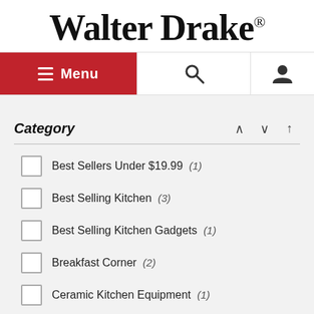Walter Drake®
[Figure (screenshot): Navigation bar with red Menu button (hamburger icon), search icon, and account/user icon]
Category
Best Sellers Under $19.99  (1)
Best Selling Kitchen  (3)
Best Selling Kitchen Gadgets  (1)
Breakfast Corner  (2)
Ceramic Kitchen Equipment  (1)
Clearance  (6)
View More